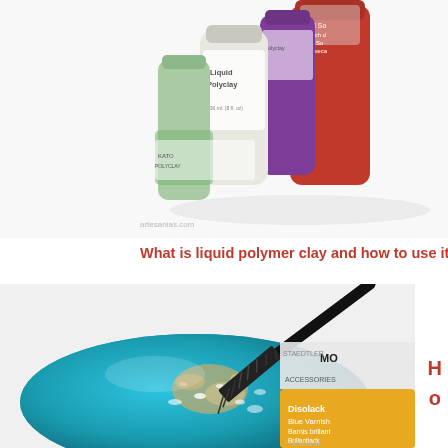[Figure (photo): Photo of polymer clay supply bottles including Liquid Polyclay and other gel/liquid polymer clay products on a white background]
artesanias.com
What is liquid polymer clay and how to use it?
[Figure (photo): Close-up photo of a teal/turquoise oval polymer clay piece with metallic flakes being brushed with a fan brush. Behind it is a bottle of Disolack blue varnish product.]
H o